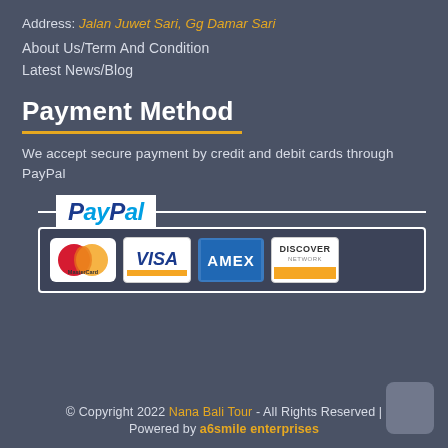Address: Jalan Juwet Sari, Gg Damar Sari
About Us/Term And Condition
Latest News/Blog
Payment Method
We accept secure payment by credit and debit cards through PayPal
[Figure (logo): PayPal logo with accepted payment card logos: MasterCard, VISA, AMEX, Discover]
© Copyright 2022 Nana Bali Tour - All Rights Reserved | Powered by a6smile enterprises